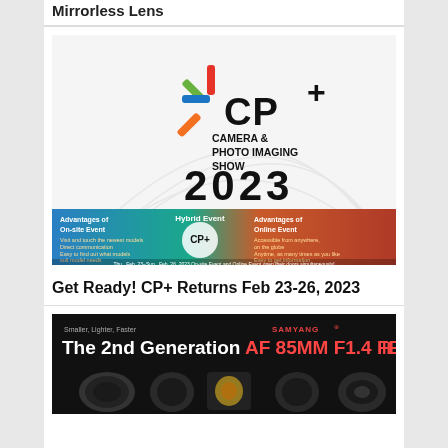Mirrorless Lens
[Figure (photo): CP+ Camera & Photo Imaging Show 2023 promotional banner showing hybrid event details with on-site and online event advantages, dated Feb 23-26, 2023]
Get Ready! CP+ Returns Feb 23-26, 2023
[Figure (photo): Samyang The 2nd Generation AF 85MM F1.4 FE II lens product advertisement showing multiple lens views on dark background]